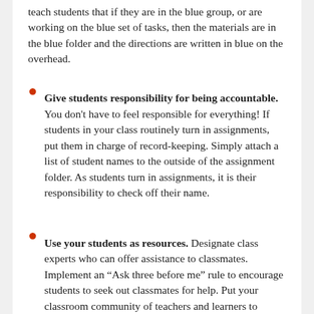teach students that if they are in the blue group, or are working on the blue set of tasks, then the materials are in the blue folder and the directions are written in blue on the overhead.
Give students responsibility for being accountable. You don't have to feel responsible for everything! If students in your class routinely turn in assignments, put them in charge of record-keeping. Simply attach a list of student names to the outside of the assignment folder. As students turn in assignments, it is their responsibility to check off their name.
Use your students as resources. Designate class experts who can offer assistance to classmates. Implement an “Ask three before me” rule to encourage students to seek out classmates for help. Put your classroom community of teachers and learners to work!